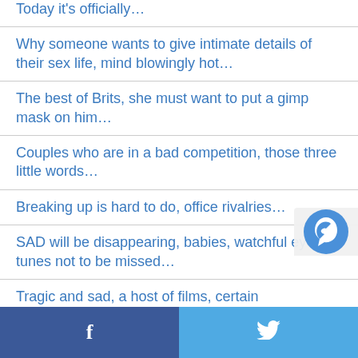Today it's officially…
Why someone wants to give intimate details of their sex life, mind blowingly hot…
The best of Brits, she must want to put a gimp mask on him…
Couples who are in a bad competition, those three little words…
Breaking up is hard to do, office rivalries…
SAD will be disappearing, babies, watchful eye, tunes not to be missed…
Tragic and sad, a host of films, certain